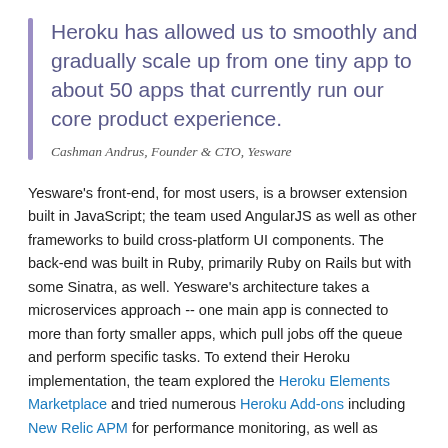Heroku has allowed us to smoothly and gradually scale up from one tiny app to about 50 apps that currently run our core product experience.
Cashman Andrus, Founder & CTO, Yesware
Yesware's front-end, for most users, is a browser extension built in JavaScript; the team used AngularJS as well as other frameworks to build cross-platform UI components. The back-end was built in Ruby, primarily Ruby on Rails but with some Sinatra, as well. Yesware's architecture takes a microservices approach -- one main app is connected to more than forty smaller apps, which pull jobs off the queue and perform specific tasks. To extend their Heroku implementation, the team explored the Heroku Elements Marketplace and tried numerous Heroku Add-ons including New Relic APM for performance monitoring, as well as